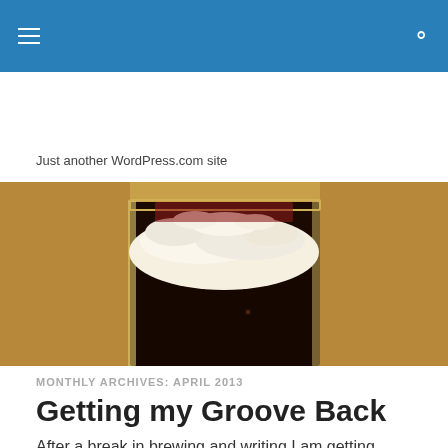Navigation bar with hamburger menu and search icon
Just another WordPress.com site
[Figure (photo): Close-up photo of a dark beer in a glass pint with a thick foam head, on a warm wooden background]
MONTHLY ARCHIVES: APRIL 2013
Getting my Groove Back
After a break in brewing and writing I am getting back into the blogging groove and actually the beer making process